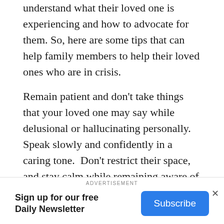understand what their loved one is experiencing and how to advocate for them. So, here are some tips that can help family members to help their loved ones who are in crisis.
Remain patient and don't take things that your loved one may say while delusional or hallucinating personally. Speak slowly and confidently in a caring tone.  Don't restrict their space, and stay calm while remaining aware of what may heighten their fear or make them act aggressively. Focus on your loved one's feelings instead of trying to convince them what they are experiencing isn't real. Most importantly: Remember that recovery is possible for your loved one.
ADVERTISEMENT
Sign up for our free Daily Newsletter
Subscribe